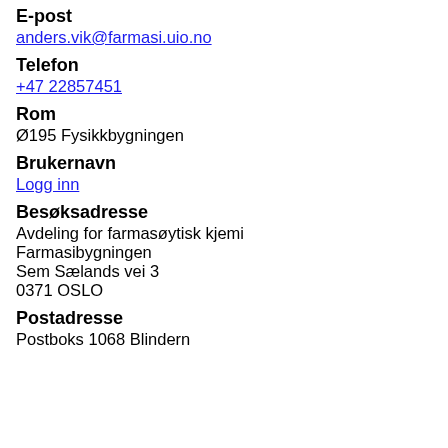E-post
anders.vik@farmasi.uio.no
Telefon
+47 22857451
Rom
Ø195 Fysikkbygningen
Brukernavn
Logg inn
Besøksadresse
Avdeling for farmasøytisk kjemi
Farmasibygningen
Sem Sælands vei 3
0371 OSLO
Postadresse
Postboks 1068 Blindern